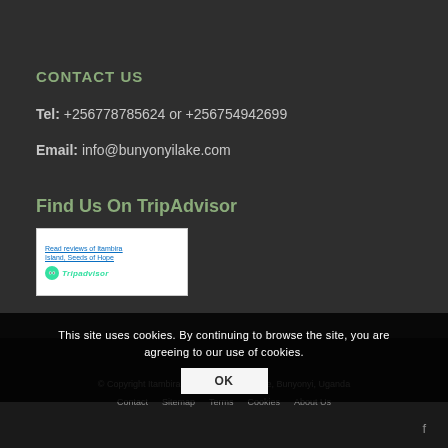CONTACT US
Tel: +256778785624 or +256754942699
Email: info@bunyonyilake.com
Find Us On TripAdvisor
[Figure (screenshot): TripAdvisor widget with text 'Read reviews of Itambira Island, Seeds of Hope' and TripAdvisor logo]
This site uses cookies. By continuing to browse the site, you are agreeing to our use of cookies.
© Copyright Itambira Island, Seeds of Hope, Bunyonyi, Uganda
Contact  Sitemap  Terms  Cookies  About Us